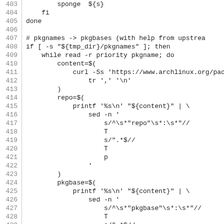[Figure (screenshot): Source code listing showing shell script lines 403-432, with line numbers on the left side separated by a vertical bar. The code shows shell script logic for converting pkgnames to pkgbases using curl and sed commands.]